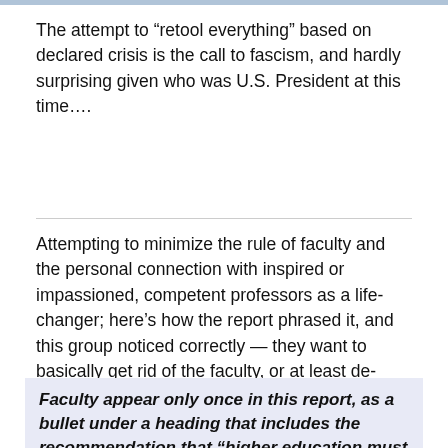The attempt to “retool everything” based on declared crisis is the call to fascism, and hardly surprising given who was U.S. President at this time….
Attempting to minimize the rule of faculty and the personal connection with inspired or impassioned, competent professors as a life-changer; here’s how the report phrased it, and this group noticed correctly — they want to basically get rid of the faculty, or at least de-throne the concept of faculty as valuable. Listen to the language!!!
Faculty appear only once in this report, as a bullet under a heading that includes the recommendation that “higher education must change from a system primarily based on reputation to one based on